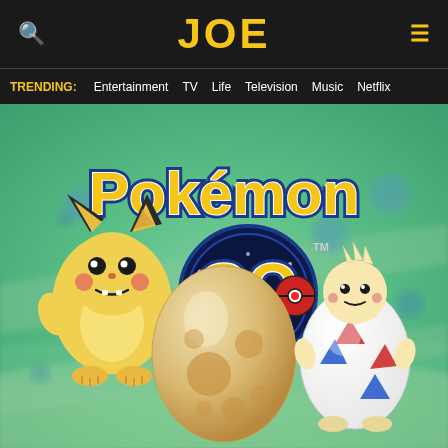JOE
TRENDING: Entertainment  TV  Life  Television  Music  Netflix
[Figure (screenshot): Pokémon GO promotional image featuring the Pokémon GO logo with a Pichu character on the left, a large spotted egg in the center, and Togepi in an egg shell on the right, set against a blurred green map background.]